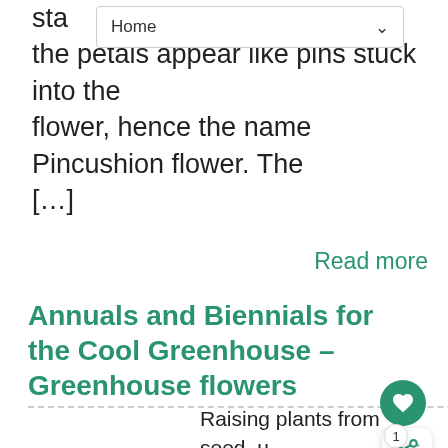[Figure (screenshot): Navigation dropdown bar showing 'Home' with a down arrow chevron]
sta... the petals appear like pins stuck into the flower, hence the name Pincushion flower. The [...]
Read more
Annuals and Biennials for the Cool Greenhouse – Greenhouse flowers
Raising plants from seed is the most economical means of providing a long-lasting display for the cool greenhouse. Where a